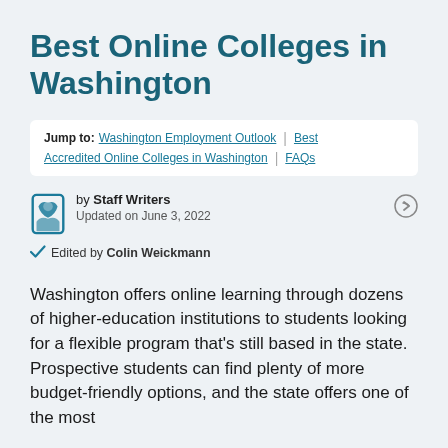Best Online Colleges in Washington
Jump to: Washington Employment Outlook | Best Accredited Online Colleges in Washington | FAQs
by Staff Writers
Updated on June 3, 2022
Edited by Colin Weickmann
Washington offers online learning through dozens of higher-education institutions to students looking for a flexible program that's still based in the state. Prospective students can find plenty of more budget-friendly options, and the state offers one of the most